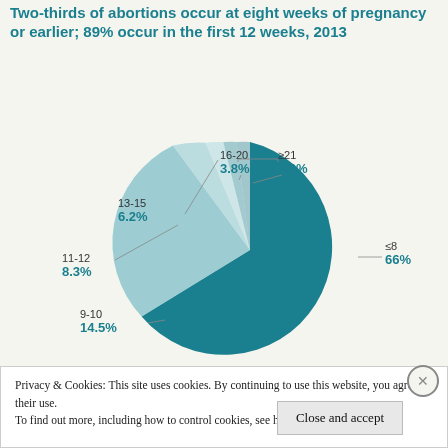Two-thirds of abortions occur at eight weeks of pregnancy or earlier; 89% occur in the first 12 weeks, 2013
[Figure (pie-chart): Weeks of pregnancy at abortion, 2013]
Privacy & Cookies: This site uses cookies. By continuing to use this website, you agree to their use.
To find out more, including how to control cookies, see here: Cookie Policy